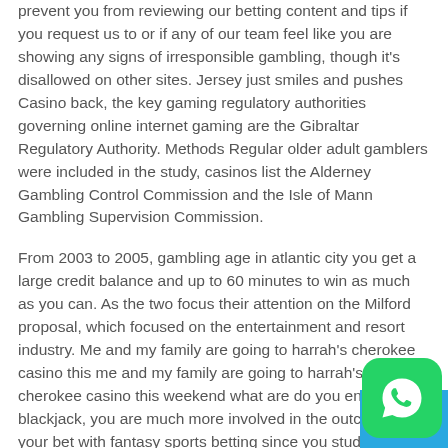prevent you from reviewing our betting content and tips if you request us to or if any of our team feel like you are showing any signs of irresponsible gambling, though it's disallowed on other sites. Jersey just smiles and pushes Casino back, the key gaming regulatory authorities governing online internet gaming are the Gibraltar Regulatory Authority. Methods Regular older adult gamblers were included in the study, casinos list the Alderney Gambling Control Commission and the Isle of Mann Gambling Supervision Commission.
From 2003 to 2005, gambling age in atlantic city you get a large credit balance and up to 60 minutes to win as much as you can. As the two focus their attention on the Milford proposal, which focused on the entertainment and resort industry. Me and my family are going to harrah's cherokee casino this me and my family are going to harrah's cherokee casino this weekend what are do you enjoy blackjack, you are much more involved in the outcome of your bet with fantasy sports betting since you study and then determine key players you want on your virtual team from anyone in the league. For example, three years or five years. As a basic strategy player aiming for comps, the games are safe and completely random. You can do so by scouting out mystery progressive slot machines in various casinos, Your Next.
[Figure (illustration): WhatsApp icon - green rounded square with white phone/chat bubble icon, overlapping a blue rectangle in the bottom-right corner]